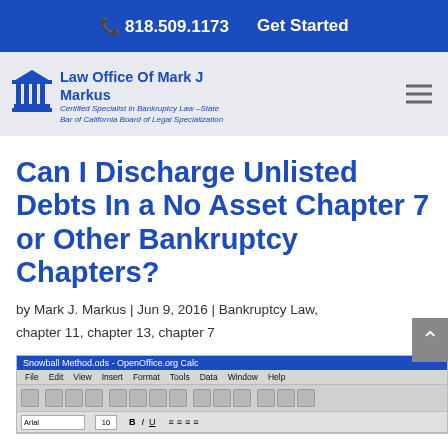818.509.1173   Get Started
[Figure (logo): Law Office Of Mark J Markus logo with courthouse icon and tagline: Certified Specialist in Bankruptcy Law – State Bar of California Board of Legal Specialization]
Can I Discharge Unlisted Debts In a No Asset Chapter 7 or Other Bankruptcy Chapters?
by Mark J. Markus | Jun 9, 2016 | Bankruptcy Law, chapter 11, chapter 13, chapter 7
[Figure (screenshot): Screenshot of OpenOffice.org Calc spreadsheet application showing the Snowball Method.ods file with menu bar and toolbars visible]